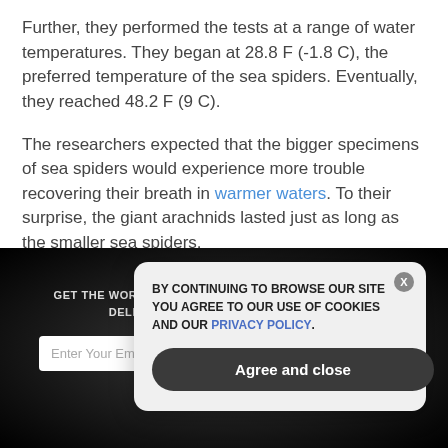Further, they performed the tests at a range of water temperatures. They began at 28.8 F (-1.8 C), the preferred temperature of the sea spiders. Eventually, they reached 48.2 F (9 C).
The researchers expected that the bigger specimens of sea spiders would experience more trouble recovering their breath in warmer waters. To their surprise, the giant arachnids lasted just as long as the smaller sea spiders.
GET THE WORLD'S BEST NATURAL HEALTH NEWSLETTER DELIVERED STRAIGHT TO YOUR INBOX
Enter Your Email Address
SUBSCRIBE
BY CONTINUING TO BROWSE OUR SITE YOU AGREE TO OUR USE OF COOKIES AND OUR PRIVACY POLICY.
Agree and close